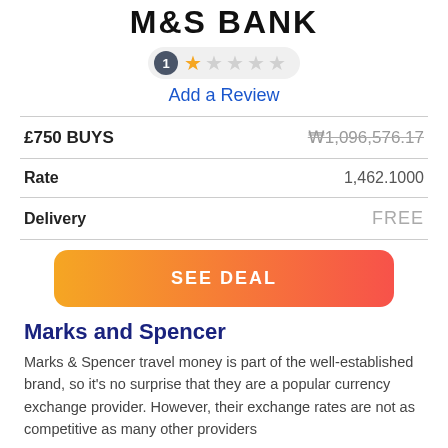M&S BANK
[Figure (other): Rating pill showing 1 review and 1-star rating (1 filled star, 4 empty stars)]
Add a Review
| £750 BUYS | ₩1,096,576.17 |
| Rate | 1,462.1000 |
| Delivery | FREE |
[Figure (other): SEE DEAL button with orange-to-pink gradient]
Marks and Spencer
Marks & Spencer travel money is part of the well-established brand, so it's no surprise that they are a popular currency exchange provider. However, their exchange rates are not as competitive as many other providers